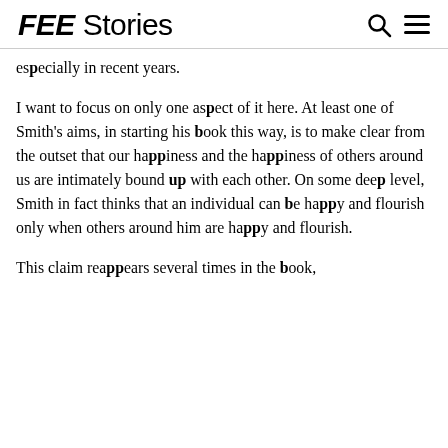FEE Stories
especially in recent years.
I want to focus on only one aspect of it here. At least one of Smith's aims, in starting his book this way, is to make clear from the outset that our happiness and the happiness of others around us are intimately bound up with each other. On some deep level, Smith in fact thinks that an individual can be happy and flourish only when others around him are happy and flourish.
This claim reappears several times in the book,